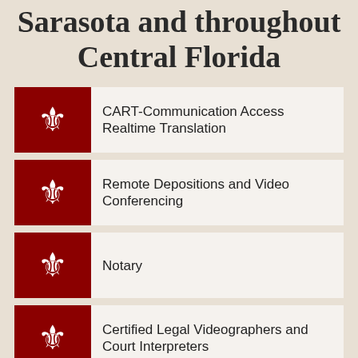Sarasota and throughout Central Florida
CART-Communication Access Realtime Translation
Remote Depositions and Video Conferencing
Notary
Certified Legal Videographers and Court Interpreters